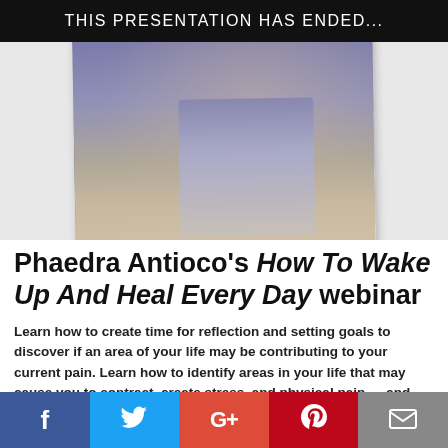THIS PRESENTATION HAS ENDED...
[Figure (photo): Photo of a woman with blonde hair wearing a grey cardigan and a colorful necklace, shown from shoulders up against a blurred outdoor background.]
Phaedra Antioco's How To Wake Up And Heal Every Day webinar
Learn how to create time for reflection and setting goals to discover if an area of your life may be contributing to your current pain. Learn how to identify areas in your life that may cause you to contract, create stress, and physical pain — and what to do about them so you can expand and begin to feel better.
[Figure (infographic): Social sharing bar with five buttons: Facebook (blue), Twitter (light blue), Google+ (red-orange), Pinterest (dark red), Email (grey) — each showing the corresponding icon.]